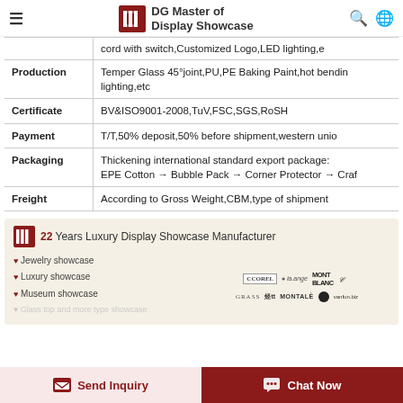DG Master of Display Showcase
|  |  |
| --- | --- |
|  | cord with switch,Customized Logo,LED lighting,e |
| Production | Temper Glass 45° joint,PU,PE Baking Paint,hot bending lighting,etc |
| Certificate | BV&ISO9001-2008,TuV,FSC,SGS,RoSH |
| Payment | T/T,50% deposit,50% before shipment,western union |
| Packaging | Thickening international standard export package: EPE Cotton → Bubble Pack → Corner Protector → Craft |
| Freight | According to Gross Weight,CBM,type of shipment |
[Figure (infographic): DG Master banner: 22 Years Luxury Display Showcase Manufacturer with list of showcase types (Jewelry showcase, Luxury showcase, Museum showcase) and partner brand logos (Chanel, Mont Blanc, etc.)]
Send Inquiry
Chat Now